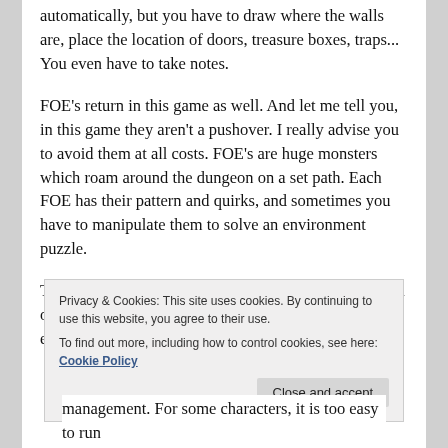automatically, but you have to draw where the walls are, place the location of doors, treasure boxes, traps... You even have to take notes.
FOE's return in this game as well. And let me tell you, in this game they aren't a pushover. I really advise you to avoid them at all costs. FOE's are huge monsters which roam around the dungeon on a set path. Each FOE has their pattern and quirks, and sometimes you have to manipulate them to solve an environment puzzle.
The FOE's are the only enemies you'll see roam around on the bottom screen map. All the other enemies are encountered by exploring the dungeon. Like in Etrian
Privacy & Cookies: This site uses cookies. By continuing to use this website, you agree to their use.
To find out more, including how to control cookies, see here: Cookie Policy
Close and accept
management. For some characters, it is too easy to run